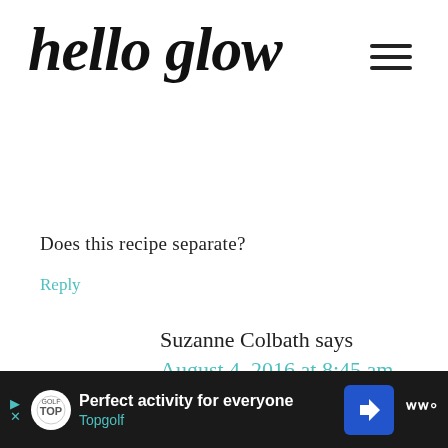hello glow
Does this recipe separate?
Reply
Suzanne Colbath says
August 4, 2016 at 8:45 am
Tanya, any recipe should separate. I just always give it a good shake right
Perfect activity for everyone Topgolf